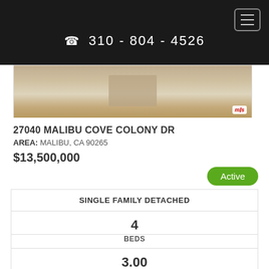☎ 310 - 804 - 4526
[Figure (photo): Interior photo of a room with wooden floor and a pale cubic object, MLS logo in bottom right corner]
27040 MALIBU COVE COLONY DR
AREA: MALIBU, CA 90265
$13,500,000
Active
| SINGLE FAMILY DETACHED |  |  |
| --- | --- | --- |
| 4 | BEDS |  |
| 3.00 |  |  |